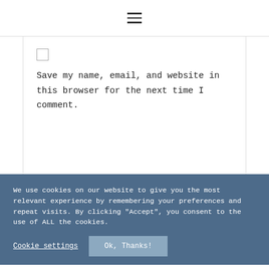[Figure (other): Hamburger menu icon (three horizontal lines) centered in the top navigation bar]
Save my name, email, and website in this browser for the next time I comment.
We use cookies on our website to give you the most relevant experience by remembering your preferences and repeat visits. By clicking "Accept", you consent to the use of ALL the cookies.
Cookie settings
Ok, Thanks!